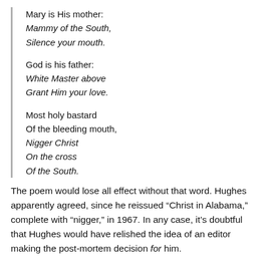Mary is His mother:
Mammy of the South,
Silence your mouth.

God is his father:
White Master above
Grant Him your love.

Most holy bastard
Of the bleeding mouth,
Nigger Christ
On the cross
Of the South.
The poem would lose all effect without that word. Hughes apparently agreed, since he reissued “Christ in Alabama,” complete with “nigger,” in 1967. In any case, it’s doubtful that Hughes would have relished the idea of an editor making the post-mortem decision for him.